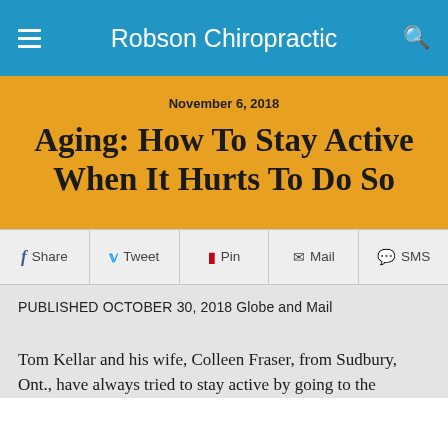Robson Chiropractic
November 6, 2018
Aging: How To Stay Active When It Hurts To Do So
Share  Tweet  Pin  Mail  SMS
PUBLISHED OCTOBER 30, 2018 Globe and Mail
Tom Kellar and his wife, Colleen Fraser, from Sudbury, Ont., have always tried to stay active by going to the